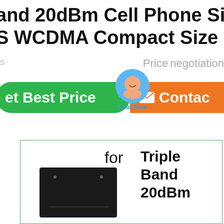and 20dBm Cell Phone Signal Bo
S WCDMA Compact Size For Ho
s        Price�negotiation
[Figure (screenshot): Green 'Get Best Price' button and orange 'Contact' button with a chat bubble overlay labeled 'Chat Now']
[Figure (screenshot): Product card showing a black electronic device (signal booster) with text 'for' and 'Triple Band 20dBm' label beside it]